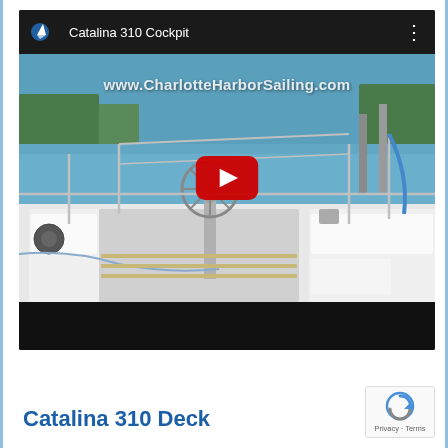[Figure (screenshot): YouTube video thumbnail showing Catalina 310 sailboat cockpit with steering wheel, white cushioned seating, stainless steel railings and hardware, marina in background. Watermark text 'www.CharlotteHarborSailing.com' overlaid. Red YouTube play button in center. Video title bar at top shows 'Catalina 310 Cockpit' with YouTube logo.]
Catalina 310 Deck
[Figure (logo): Google reCAPTCHA badge showing circular arrow icon with 'Privacy - Terms' text below]